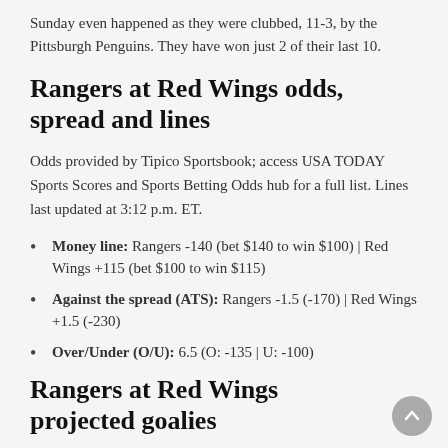Sunday even happened as they were clubbed, 11-3, by the Pittsburgh Penguins. They have won just 2 of their last 10.
Rangers at Red Wings odds, spread and lines
Odds provided by Tipico Sportsbook; access USA TODAY Sports Scores and Sports Betting Odds hub for a full list. Lines last updated at 3:12 p.m. ET.
Money line: Rangers -140 (bet $140 to win $100) | Red Wings +115 (bet $100 to win $115)
Against the spread (ATS): Rangers -1.5 (-170) | Red Wings +1.5 (-230)
Over/Under (O/U): 6.5 (O: -135 | U: -100)
Rangers at Red Wings projected goalies
Alexandar Georgiev (10-9-2, 3.08 GAA, .894 SV%, 1 SO) vs.